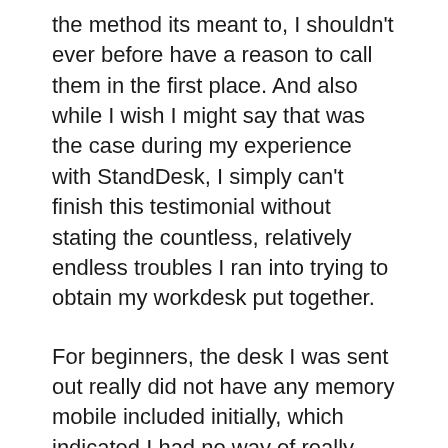the method its meant to, I shouldn't ever before have a reason to call them in the first place. And also while I wish I might say that was the case during my experience with StandDesk, I simply can't finish this testimonial without stating the countless, relatively endless troubles I ran into trying to obtain my workdesk put together.
For beginners, the desk I was sent out really did not have any memory mobile included initially, which indicated I had no way of really managing the up/down function on the desk itself. I called StandDesk regarding this concern, that returned to me around a day later with an apology and also a guarantee that a new one would certainly be shipped out shortly.